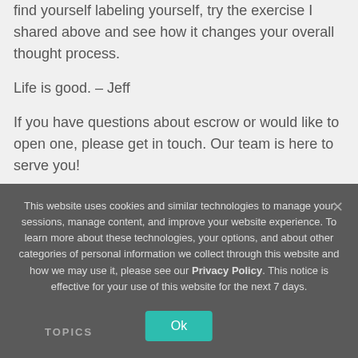find yourself labeling yourself, try the exercise I shared above and see how it changes your overall thought process.
Life is good. – Jeff
If you have questions about escrow or would like to open one, please get in touch. Our team is here to serve you!
This website uses cookies and similar technologies to manage your sessions, manage content, and improve your website experience. To learn more about these technologies, your options, and about other categories of personal information we collect through this website and how we may use it, please see our Privacy Policy. This notice is effective for your use of this website for the next 7 days.
TOPICS